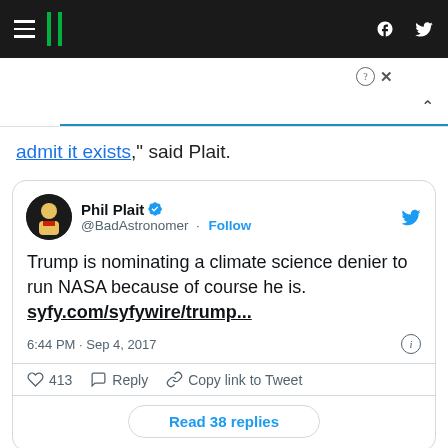HuffPost navigation bar with hamburger menu, logo, Facebook and Twitter icons
[Figure (screenshot): Ad area with question mark and close X controls, chevron up, and a blue horizontal line]
admit it exists," said Plait.
[Figure (screenshot): Embedded tweet from Phil Plait (@BadAstronomer): Trump is nominating a climate science denier to run NASA because of course he is. syfy.com/syfywire/trump... 6:44 PM · Sep 4, 2017 · 413 likes · Reply · Copy link to Tweet · Read 38 replies]